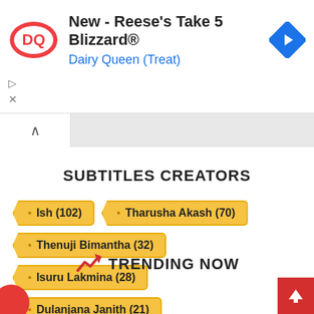[Figure (screenshot): Dairy Queen advertisement banner with DQ logo and navigation arrow icon. Text: 'New - Reese's Take 5 Blizzard®' and 'Dairy Queen (Treat)']
SUBTITLES CREATORS
Ish (102)
Tharusha Akash (70)
Thenuji Bimantha (32)
Isuru Lakmina (28)
Dulanjana Janith (21)
Ranithu Hettikanda (10)
Dasuni Pabodha (2)
TRENDING NOW